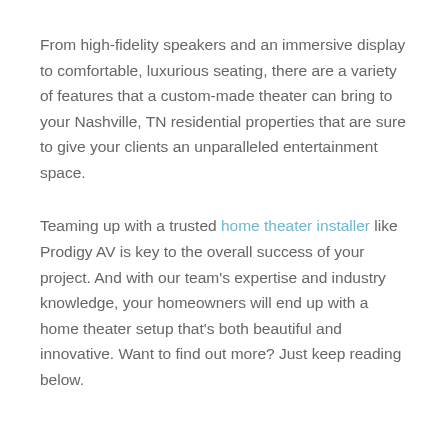From high-fidelity speakers and an immersive display to comfortable, luxurious seating, there are a variety of features that a custom-made theater can bring to your Nashville, TN residential properties that are sure to give your clients an unparalleled entertainment space.
Teaming up with a trusted home theater installer like Prodigy AV is key to the overall success of your project. And with our team's expertise and industry knowledge, your homeowners will end up with a home theater setup that's both beautiful and innovative. Want to find out more? Just keep reading below.